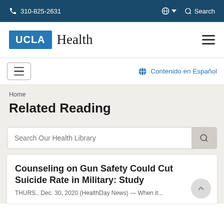310-825-2631  Search
[Figure (logo): UCLA Health logo — blue UCLA box with white text, followed by 'Health' in serif font]
Contenido en Español
Home
Related Reading
Search Our Health Library
Counseling on Gun Safety Could Cut Suicide Rate in Military: Study
THURS., Dec. 30, 2020 (HealthDay News) — When it...